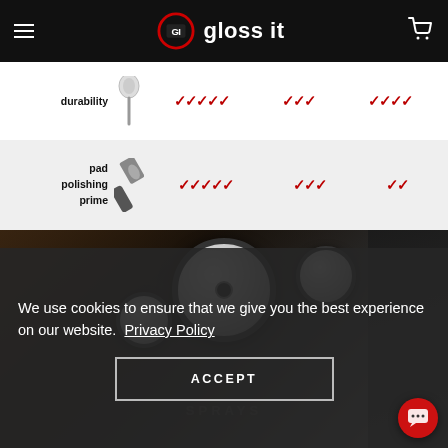gloss it - navigation header
[Figure (infographic): Product comparison table rows showing durability and pad polishing prime ratings using red checkmarks across three product columns]
[Figure (photo): Close-up photo of a motorcycle dashboard with gauges and instrument panel]
We use cookies to ensure that we give you the best experience on our website. Privacy Policy
ACCEPT